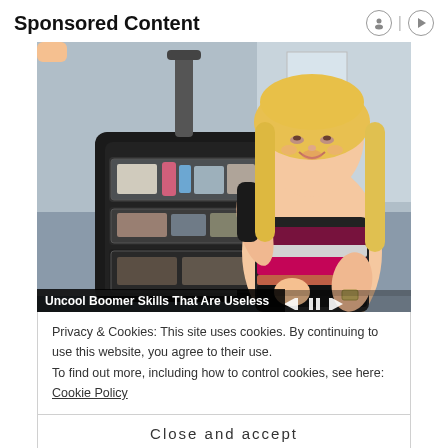Sponsored Content
[Figure (photo): Woman with blonde hair wearing pink and black striped top, kneeling next to a black rolling suitcase open to show toiletry organizer pockets. Video player controls visible at bottom right. Caption bar reads 'Uncool Boomer Skills That Are Useless']
Privacy & Cookies: This site uses cookies. By continuing to use this website, you agree to their use.
To find out more, including how to control cookies, see here: Cookie Policy
Close and accept
This Classic Logo Quiz